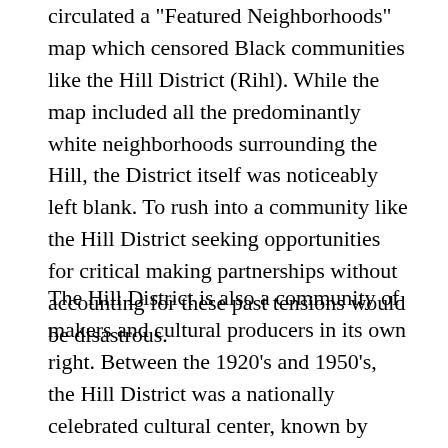circulated a "Featured Neighborhoods" map which censored Black communities like the Hill District (Rihl). While the map included all the predominantly white neighborhoods surrounding the Hill, the District itself was noticeably left blank. To rush into a community like the Hill District seeking opportunities for critical making partnerships without accounting for these past tensions would be disastrous.
The Hill District is also a community of makers and cultural producers in its own right. Between the 1920's and 1950's, the Hill District was a nationally celebrated cultural center, known by people like poet Claude